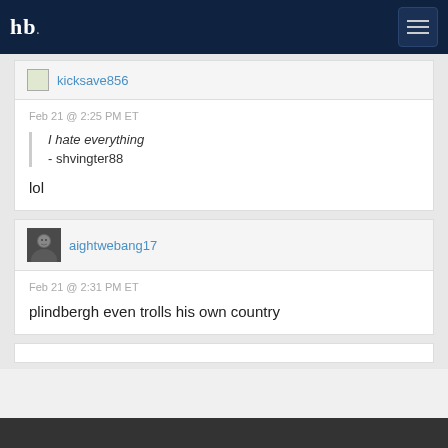hb [site logo] + menu button
kicksave856
Feb 21 @ 2:25 PM ET
I hate everything
- shvingter88
lol
aightwebang17
Feb 21 @ 2:31 PM ET
plindbergh even trolls his own country